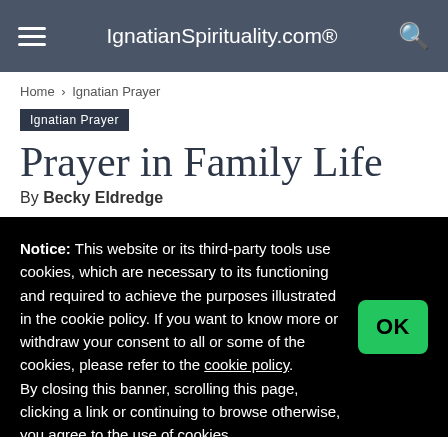IgnatianSpirituality.com®
Home › Ignatian Prayer
Ignatian Prayer
Prayer in Family Life
By Becky Eldredge
Notice: This website or its third-party tools use cookies, which are necessary to its functioning and required to achieve the purposes illustrated in the cookie policy. If you want to know more or withdraw your consent to all or some of the cookies, please refer to the cookie policy. By closing this banner, scrolling this page, clicking a link or continuing to browse otherwise, you agree to the use of cookies.